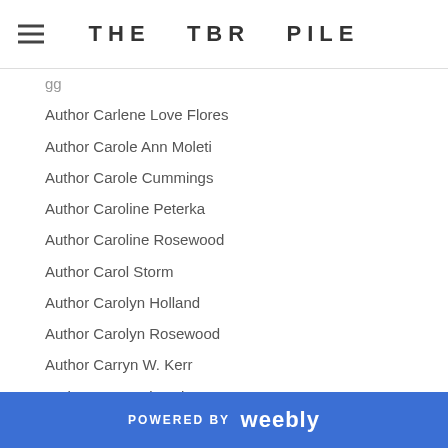THE TBR PILE
Author Carlene Love Flores
Author Carole Ann Moleti
Author Carole Cummings
Author Caroline Peterka
Author Caroline Rosewood
Author Carol Storm
Author Carolyn Holland
Author Carolyn Rosewood
Author Carryn W. Kerr
Author Cassandra Clare
Author Cat Blaine
Author Catherin Curzon
Author Catherine Lievens
Author Catherine Peace
Author Cathy Maxwell
Author Cathy Pegau
Author CC Bridges
POWERED BY weebly